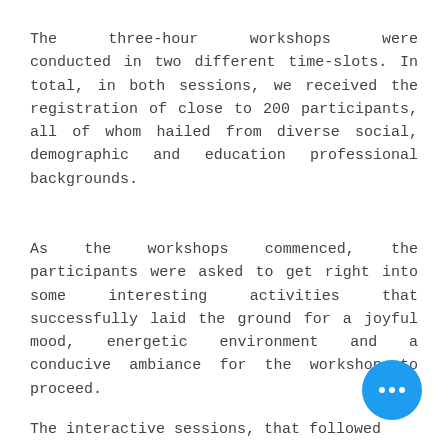The three-hour workshops were conducted in two different time-slots. In total, in both sessions, we received the registration of close to 200 participants, all of whom hailed from diverse social, demographic and education professional backgrounds.
As the workshops commenced, the participants were asked to get right into some interesting activities that successfully laid the ground for a joyful mood, energetic environment and a conducive ambiance for the workshop to proceed.
The interactive sessions, that followed